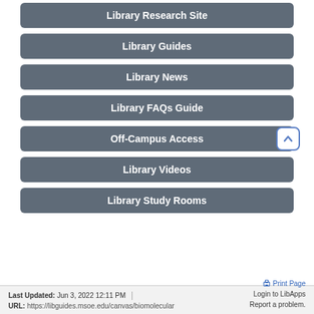Library Research Site
Library Guides
Library News
Library FAQs Guide
Off-Campus Access
Library Videos
Library Study Rooms
Last Updated: Jun 3, 2022 12:11 PM | URL: https://libguides.msoe.edu/canvas/biomolecular | Print Page | Login to LibApps | Report a problem.